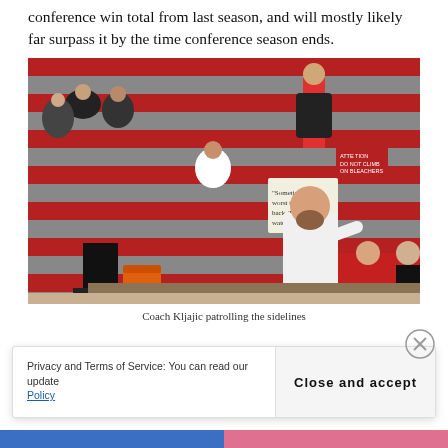conference win total from last season, and will mostly likely far surpass it by the time conference season ends.
[Figure (photo): A volleyball coach in a white dress shirt and black pants, appearing to call out instructions with his hand near his mouth, standing on the sideline. Several volleyball players in red uniforms sit on a bench behind him. Spectators fill red and gray bleachers in the background. A handwritten sign is visible in the crowd.]
Coach Kljajic patrolling the sidelines
Privacy and Terms of Service: You can read our update
Policy
Close and accept